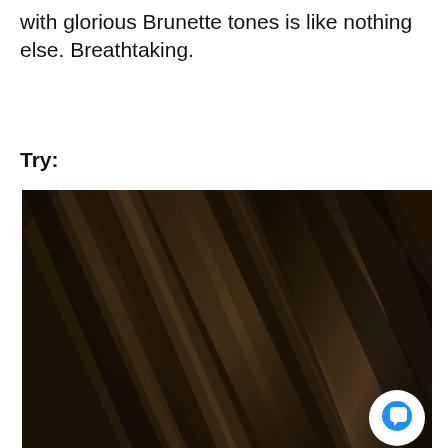with glorious Brunette tones is like nothing else. Breathtaking.
Try:
[Figure (photo): Close-up photograph of dark brunette hair strands with diagonal flow, showing rich dark brown tones with subtle highlights. A blue chat bubble icon is visible in the lower right corner of the image.]